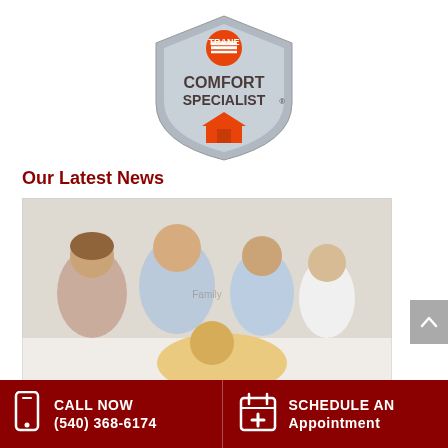[Figure (logo): Trane Comfort Specialist shield logo with orange Trane branding and house icon]
Our Latest News
[Figure (photo): Happy family (woman, man, two boys) sitting on a couch with a golden retriever dog]
CALL NOW (540) 368-6174
SCHEDULE AN Appointment